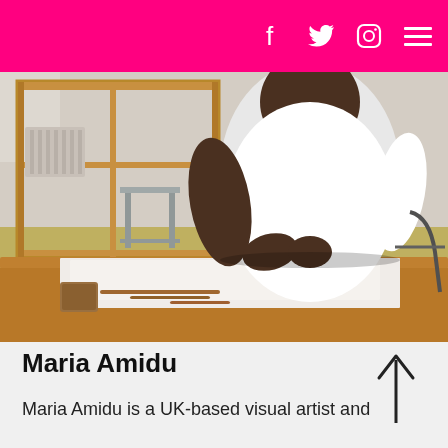Social media icons: Facebook, Twitter, Instagram; Hamburger menu
[Figure (photo): A Black woman artist sitting at a wooden studio table, wearing a white short-sleeve shirt, working with clay or sculptural materials. Wooden shelving units are visible in the background. Tools and materials are laid out on the white table surface.]
Maria Amidu
Maria Amidu is a UK-based visual artist and